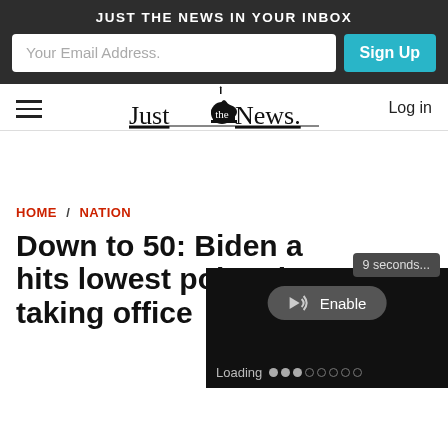JUST THE NEWS IN YOUR INBOX
Your Email Address.
Sign Up
[Figure (logo): Just the News logo with Capitol dome icon]
Log in
HOME / NATION
[Figure (screenshot): Video player overlay showing '9 seconds...' countdown, speaker/Enable button, and Loading indicator with dots]
Down to 50: Biden a hits lowest point since taking office